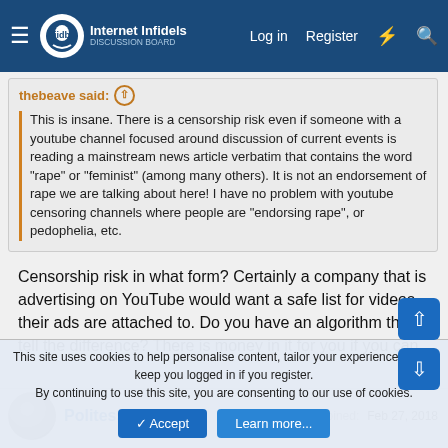Internet Infidels — Log in | Register
thebeave said: This is insane. There is a censorship risk even if someone with a youtube channel focused around discussion of current events is reading a mainstream news article verbatim that contains the word "rape" or "feminist" (among many others). It is not an endorsement of rape we are talking about here! I have no problem with youtube censoring channels where people are "endorsing rape", or pedophelia, etc.
Censorship risk in what form? Certainly a company that is advertising on YouTube would want a safe list for videos their ads are attached to. Do you have an algorithm that'll tell the difference? There is money in it for you if you can.
Politesse   Joined:   Feb 27, 2018
This site uses cookies to help personalise content, tailor your experience and to keep you logged in if you register.
By continuing to use this site, you are consenting to our use of cookies.